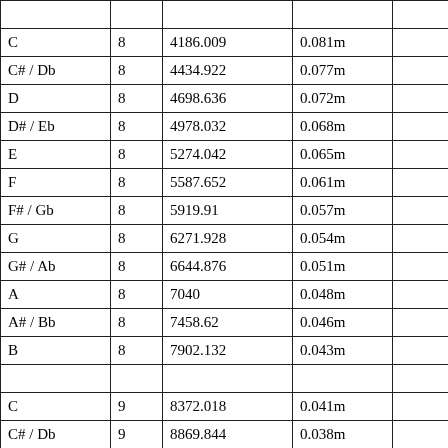|  |  |  |  |  |
| --- | --- | --- | --- | --- |
| C | 8 | 4186.009 | 0.081m |  |
| C# / Db | 8 | 4434.922 | 0.077m |  |
| D | 8 | 4698.636 | 0.072m |  |
| D# / Eb | 8 | 4978.032 | 0.068m |  |
| E | 8 | 5274.042 | 0.065m |  |
| F | 8 | 5587.652 | 0.061m |  |
| F# / Gb | 8 | 5919.91 | 0.057m |  |
| G | 8 | 6271.928 | 0.054m |  |
| G# / Ab | 8 | 6644.876 | 0.051m |  |
| A | 8 | 7040 | 0.048m |  |
| A# / Bb | 8 | 7458.62 | 0.046m |  |
| B | 8 | 7902.132 | 0.043m |  |
|  |  |  |  |  |
| C | 9 | 8372.018 | 0.041m |  |
| C# / Db | 9 | 8869.844 | 0.038m |  |
| D | 9 | 9397.272 | 0.036m |  |
| D# / Eb | 9 | 9956.064 | 0.034m |  |
| E | 9 | 10548.084 | 0.032m |  |